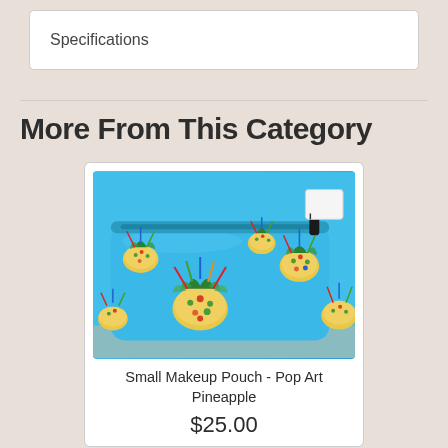Specifications
More From This Category
[Figure (photo): A small makeup pouch with a bright blue background featuring colorful pop art pineapples in yellow, green, red, and blue. The pouch has a black zipper at the top and a white tag attached.]
Small Makeup Pouch - Pop Art Pineapple
$25.00